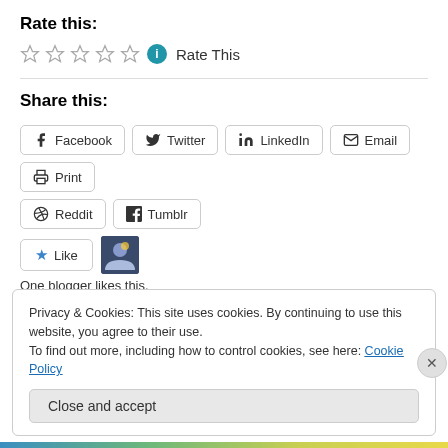Rate this:
☆ ☆ ☆ ☆ ☆ ℹ Rate This
Share this:
Facebook
Twitter
LinkedIn
Email
Print
Reddit
Tumblr
Like
One blogger likes this.
Privacy & Cookies: This site uses cookies. By continuing to use this website, you agree to their use.
To find out more, including how to control cookies, see here: Cookie Policy
Close and accept